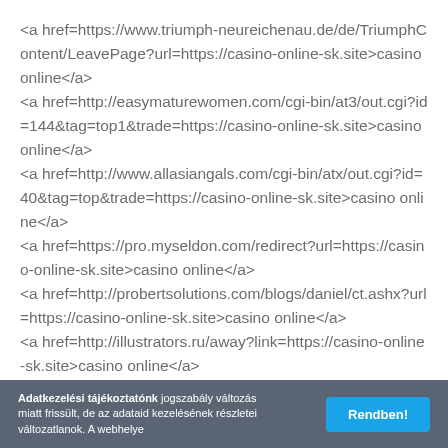<a href=https://www.triumph-neureichenau.de/de/TriumphContent/LeavePage?url=https://casino-online-sk.site>casino online</a> <a href=http://easymaturewomen.com/cgi-bin/at3/out.cgi?id=144&tag=top1&trade=https://casino-online-sk.site>casino online</a> <a href=http://www.allasiangals.com/cgi-bin/atx/out.cgi?id=40&tag=top&trade=https://casino-online-sk.site>casino online</a> <a href=https://pro.myseldon.com/redirect?url=https://casino-online-sk.site>casino online</a> <a href=http://probertsolutions.com/blogs/daniel/ct.ashx?url=https://casino-online-sk.site>casino online</a> <a href=http://illustrators.ru/away?link=https://casino-online-sk.site>casino online</a>
Adatkezelési tájékoztatónk jogszabály változás miatt frissült, de az adataid kezelésének részletei változatlanok. A webhelye... Rendben!